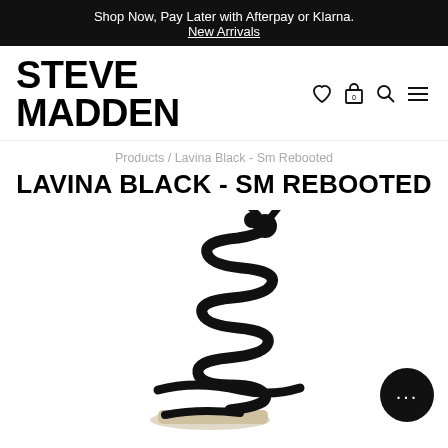Shop Now, Pay Later with Afterpay or Klarna.
New Arrivals
[Figure (logo): Steve Madden logo wordmark in bold black text with navigation icons (heart, shopping bag with 0, search, hamburger menu)]
Products / Lavina Black - Sm Rebooted
LAVINA BLACK - SM REBOOTED
[Figure (photo): Black lace-up strappy heeled sandal (Lavina style) with coiled rope-like straps spiraling up the ankle, shown on white background, partially cropped]